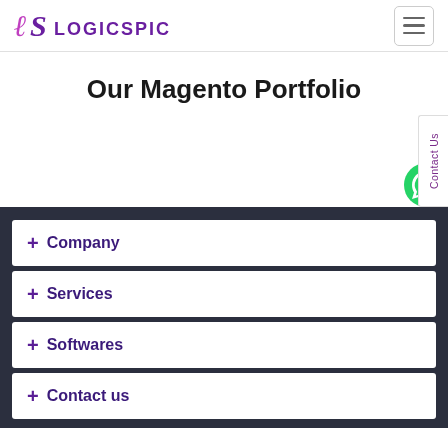LogicSpice
Our Magento Portfolio
+ Company
+ Services
+ Softwares
+ Contact us